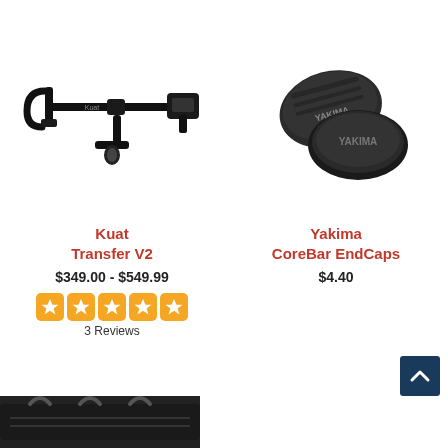[Figure (photo): Kuat Transfer V2 bike rack hitch mount, black metal frame with adjustable arms, shown on white background]
[Figure (photo): Yakima CoreBar EndCaps, two black oval plastic end caps shown on white background]
Kuat
Transfer V2
$349.00 - $549.99
[Figure (other): 5-star rating displayed as 5 orange star icons]
3 Reviews
Yakima
CoreBar EndCaps
$4.40
[Figure (photo): Partial view of a black roof rack cargo carrier product at bottom of page]
[Figure (other): Back to top button - dark blue square with white upward chevron arrow]